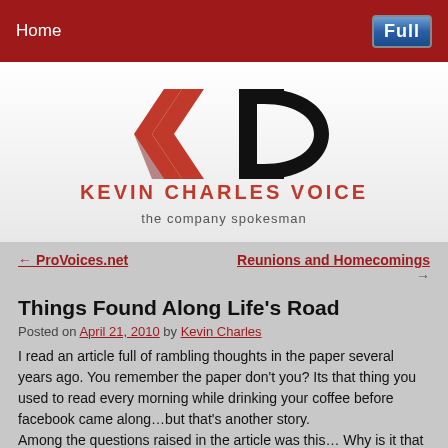Home | Full
[Figure (logo): Kevin Charles Voice logo — stylized KC letters in red and black above the text KEVIN CHARLES VOICE and tagline 'the company spokesman']
← ProVoices.net
Reunions and Homecomings →
Things Found Along Life's Road
Posted on April 21, 2010 by Kevin Charles
I read an article full of rambling thoughts in the paper several years ago. You remember the paper don't you? Its that thing you used to read every morning while drinking your coffee before facebook came along…but that's another story.
Among the questions raised in the article was this… Why is it that